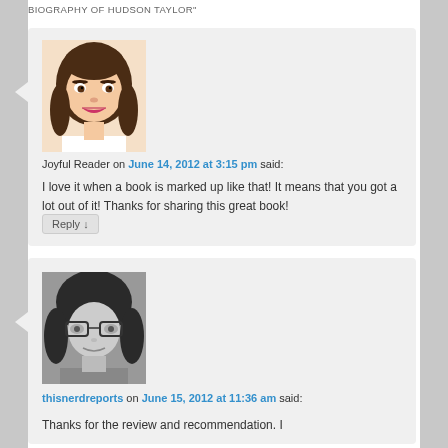BIOGRAPHY OF HUDSON TAYLOR"
[Figure (illustration): Cartoon avatar of a woman with brown hair]
Joyful Reader on June 14, 2012 at 3:15 pm said:
I love it when a book is marked up like that! It means that you got a lot out of it! Thanks for sharing this great book!
Reply ↓
[Figure (photo): Black and white photo of a woman with glasses and curly hair]
thisnerdreports on June 15, 2012 at 11:36 am said:
Thanks for the review and recommendation. I